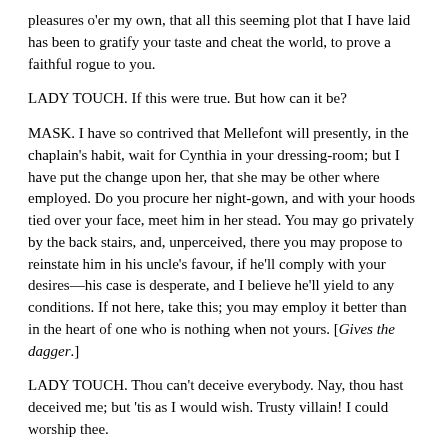pleasures o'er my own, that all this seeming plot that I have laid has been to gratify your taste and cheat the world, to prove a faithful rogue to you.
LADY TOUCH.  If this were true.  But how can it be?
MASK.  I have so contrived that Mellefont will presently, in the chaplain’s habit, wait for Cynthia in your dressing-room; but I have put the change upon her, that she may be other where employed.  Do you procure her night-gown, and with your hoods tied over your face, meet him in her stead.  You may go privately by the back stairs, and, unperceived, there you may propose to reinstate him in his uncle’s favour, if he’ll comply with your desires—his case is desperate, and I believe he’ll yield to any conditions.  If not here, take this; you may employ it better than in the heart of one who is nothing when not yours.  [Gives the dagger.]
LADY TOUCH.  Thou can’st deceive everybody.  Nay, thou hast deceived me; but ’tis as I would wish.  Trusty villain!  I could worship thee.
MASK.  No more; it wants but a few minutes of the time; and Mellefont’s love will carry him there before his hour.